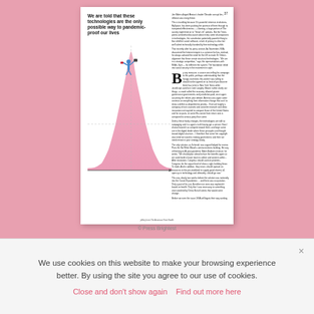[Figure (illustration): A white article page on a pink background showing a bell curve illustration with a figure standing on top holding a surveillance camera, alongside article text and a large drop-cap B]
We are told that these technologies are the only possible way to pandemic-proof our lives
Article body text in two columns with a large drop-cap letter B, discussing technology and pandemic surveillance.
We use cookies on this website to make your browsing experience better. By using the site you agree to our use of cookies.
Close and don't show again   Find out more here